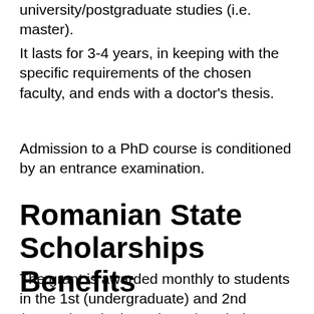university/postgraduate studies (i.e. master).
It lasts for 3-4 years, in keeping with the specific requirements of the chosen faculty, and ends with a doctor's thesis.
Admission to a PhD course is conditioned by an entrance examination.
Romanian State Scholarships Benefits
The grant is awarded monthly to students in the 1st (undergraduate) and 2nd (master) cycle throughout the whole academic year, the